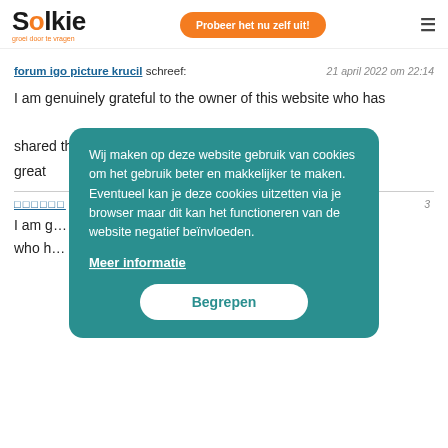Solkie — groei door te vragen | Probeer het nu zelf uit! | menu
forum igo picture krucil schreef:
21 april 2022 om 22:14
I am genuinely grateful to the owner of this website who has shared this
great
□□□□□□ s…
I am g…
who h…
[Figure (screenshot): Cookie consent overlay on Solkie website with teal background. Text reads: 'Wij maken op deze website gebruik van cookies om het gebruik beter en makkelijker te maken. Eventueel kan je deze cookies uitzetten via je browser maar dit kan het functioneren van de website negatief beïnvloeden.' with 'Meer informatie' link and 'Begrepen' button.]